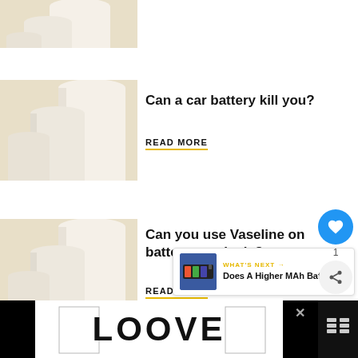[Figure (photo): White cylindrical pedestals on beige background (partial, top of page)]
[Figure (photo): White cylindrical pedestals on beige background]
Can a car battery kill you?
READ MORE
[Figure (photo): White cylindrical pedestals on beige background]
Can you use Vaseline on battery terminals?
READ MORE
[Figure (infographic): WHAT'S NEXT arrow label with battery image and title: Does A Higher MAh Battery...]
[Figure (infographic): LOOVE advertisement banner in black bar at bottom of page]